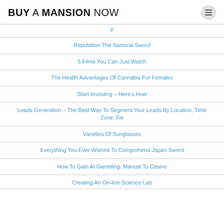BUY A MANSION NOW
(partial link at top)
Reputation The Samurai Sword
5 Films You Can Just Watch
The Health Advantages Of Cannabis For Females
Start Investing – Here's How
Leads Generation – The Best Way To Segment Your Leads By Location, Time Zone, Fix
Varieties Of Sunglasses
Everything You Ever Wished To Comprehend Japan Sword
How To Gain At Gambling, Manual To Casino
Creating An On-line Science Lab